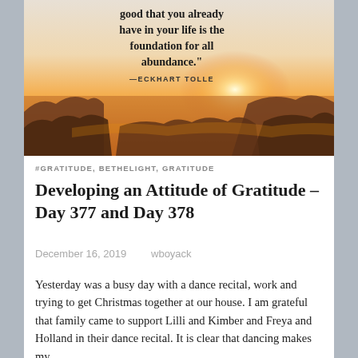[Figure (photo): A scenic photo of a rocky ocean coastline at sunset/sunrise with warm golden-orange light. A quote is overlaid on the upper portion: 'good that you already have in your life is the foundation for all abundance.' —ECKHART TOLLE]
#GRATITUDE, BETHELIGHT, GRATITUDE
Developing an Attitude of Gratitude – Day 377 and Day 378
December 16, 2019   wboyack
Yesterday was a busy day with a dance recital, work and trying to get Christmas together at our house. I am grateful that family came to support Lilli and Kimber and Freya and Holland in their dance recital. It is clear that dancing makes my